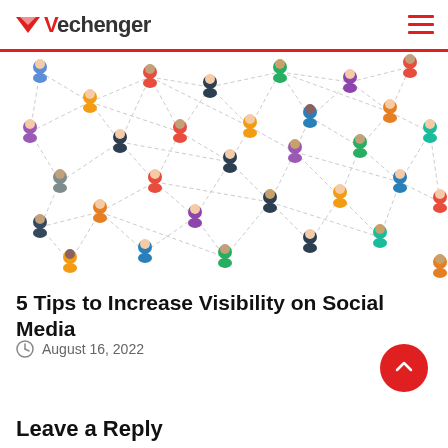Vechenger
[Figure (illustration): Network graph of diverse avatar people icons connected by dashed lines on white background, representing social media connections]
5 Tips to Increase Visibility on Social Media
August 16, 2022
Leave a Reply